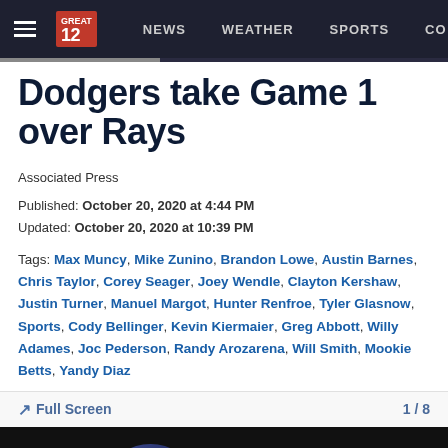NEWS   WEATHER   SPORTS   CO
Dodgers take Game 1 over Rays
Associated Press
Published: October 20, 2020 at 4:44 PM
Updated: October 20, 2020 at 10:39 PM
Tags: Max Muncy, Mike Zunino, Brandon Lowe, Austin Barnes, Chris Taylor, Corey Seager, Joey Wendle, Clayton Kershaw, Justin Turner, Manuel Margot, Hunter Renfroe, Tyler Glasnow, Sports, Cody Bellinger, Kevin Kiermaier, Greg Abbott, Willy Adames, Joc Pederson, Randy Arozarena, Will Smith, Mookie Betts, Yandy Diaz
[Figure (photo): Photo strip at bottom showing baseball players with helmets, dark background]